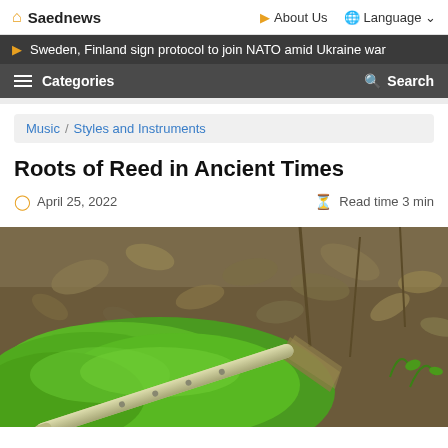Saednews | About Us | Language
Sweden, Finland sign protocol to join NATO amid Ukraine war
Categories | Search
Music / Styles and Instruments
Roots of Reed in Ancient Times
April 25, 2022 | Read time 3 min
[Figure (photo): A reed flute instrument resting on bright green moss in a forest setting with fallen leaves and soil in background]